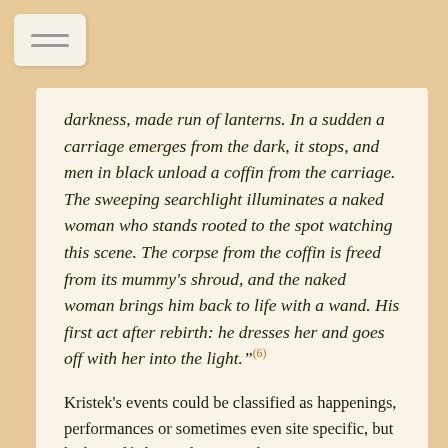darkness, made run of lanterns. In a sudden a carriage emerges from the dark, it stops, and men in black unload a coffin from the carriage. The sweeping searchlight illuminates a naked woman who stands rooted to the spot watching this scene. The corpse from the coffin is freed from its mummy's shroud, and the naked woman brings him back to life with a wand. His first act after rebirth: he dresses her and goes off with her into the light."(6)
Kristek's events could be classified as happenings, performances or sometimes even site specific, but he himself choses the original expression "happening", because for him the involvement of the public and an authentic experience are crucial. He intentionally breaks down the boundary between the spectator and the performer, between the passive recipient and the participant. Sometimes he is not the...